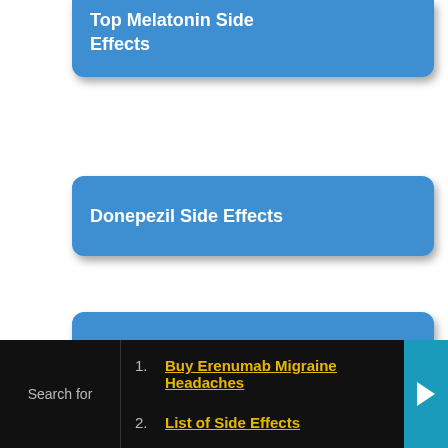Top Melatonin Side Effects
Donepezil Side Effects
Pill Identifier Imprint
Popular articles
High cholesterol symptoms, signs and risk factors
Search for
1. Buy Erenumab Migraine Headaches
2. List of Side Effects